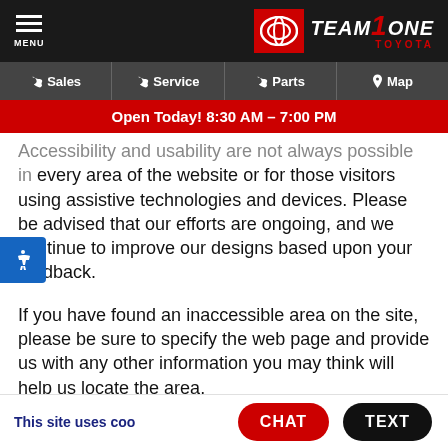[Figure (logo): Team One Toyota dealership website header with hamburger menu, Toyota oval logo in red, and Team One Toyota text logo on dark background]
Sales | Service | Parts | Map
Open Today! 8:30 AM – 7:00 PM
Accessibility and usability are not always possible in every area of the website or for those visitors using assistive technologies and devices. Please be advised that our efforts are ongoing, and we continue to improve our designs based upon your feedback.
If you have found an inaccessible area on the site, please be sure to specify the web page and provide us with any other information you may think will help us locate the area.
Need Help?
This site uses coo... | CHAT | TEXT